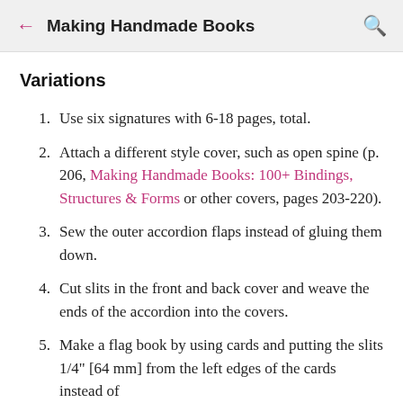Making Handmade Books
Variations
Use six signatures with 6-18 pages, total.
Attach a different style cover, such as open spine (p. 206, Making Handmade Books: 100+ Bindings, Structures & Forms or other covers, pages 203-220).
Sew the outer accordion flaps instead of gluing them down.
Cut slits in the front and back cover and weave the ends of the accordion into the covers.
Make a flag book by using cards and putting the slits 1/4" [64 mm] from the left edges of the cards instead of